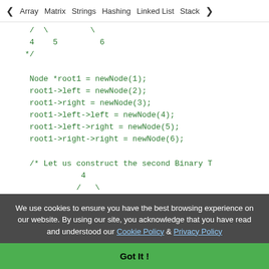< Array   Matrix   Strings   Hashing   Linked List   Stack >
Code block showing binary tree construction:
/ \
4   5       6
*/

Node *root1 = newNode(1);
root1->left = newNode(2);
root1->right = newNode(3);
root1->left->left = newNode(4);
root1->left->right = newNode(5);
root1->right->right = newNode(6);

/* Let us construct the second Binary T
        4
       / \
      1       7
      (       ( )
We use cookies to ensure you have the best browsing experience on our website. By using our site, you acknowledge that you have read and understood our Cookie Policy & Privacy Policy
Got It !